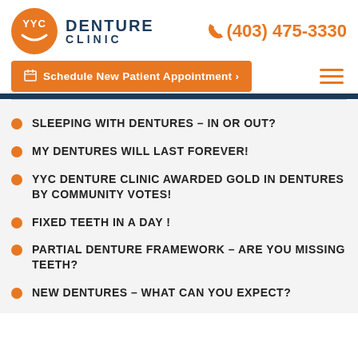[Figure (logo): YYC Denture Clinic logo with orange circle and white YYC text with smile, next to navy blue DENTURE CLINIC text]
(403) 475-3330
Schedule New Patient Appointment >
SLEEPING WITH DENTURES – IN OR OUT?
MY DENTURES WILL LAST FOREVER!
YYC DENTURE CLINIC AWARDED GOLD IN DENTURES BY COMMUNITY VOTES!
FIXED TEETH IN A DAY !
PARTIAL DENTURE FRAMEWORK – ARE YOU MISSING TEETH?
NEW DENTURES – WHAT CAN YOU EXPECT?